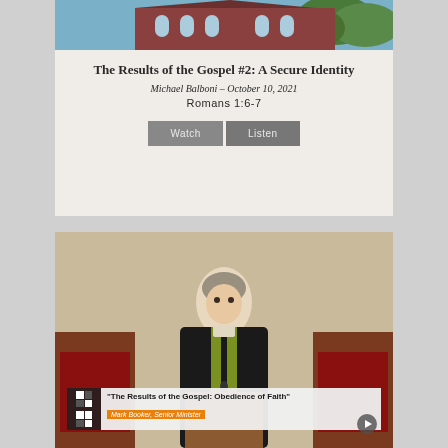[Figure (photo): Church building exterior photo at top of card]
The Results of the Gospel #2: A Secure Identity
Michael Balboni – October 10, 2021
Romans 1:6-7
Watch   Listen
[Figure (photo): Video thumbnail of a preacher in black robes with green stole at a pulpit, with overlay text reading 'The Results of the Gospel: Obedience of Faith' and 'Mark Booker, Senior Minister']